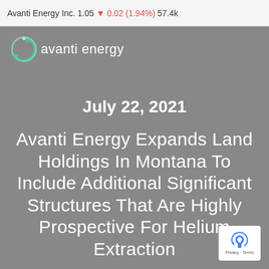Avanti Energy Inc. 1.05 ▼ 0.02 (1.94%) 57.4k
[Figure (logo): Avanti Energy logo: circular arrow icon in teal/green with white 'avanti energy' text on grey background]
July 22, 2021
Avanti Energy Expands Land Holdings In Montana To Include Additional Significant Structures That Are Highly Prospective For Helium Extraction